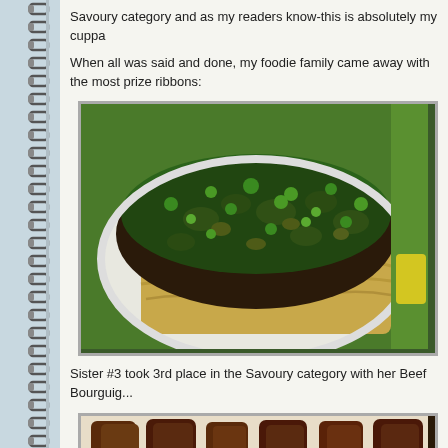Savoury category and as my readers know-this is absolutely my cuppa
When all was said and done, my foodie family came away with the most prize ribbons:
[Figure (photo): A dish of Beef Bourguignon with mushrooms, carrots, and herbs over egg noodles, served in a white casserole dish, with green background]
Sister #3 took 3rd place in the Savoury category with her Beef Bourguig...
[Figure (photo): Close-up of a meat dish, likely braised or stewed meat pieces]